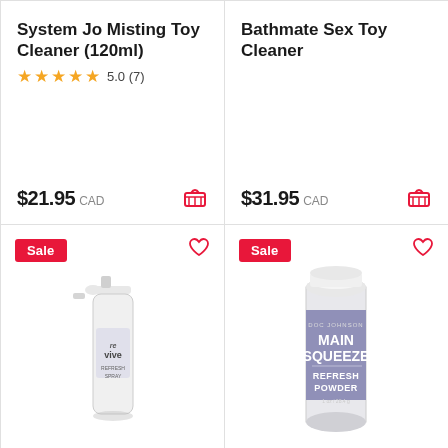System Jo Misting Toy Cleaner (120ml)
5.0 (7)
$21.95 CAD
Bathmate Sex Toy Cleaner
$31.95 CAD
[Figure (photo): Revive spray bottle product photo]
[Figure (photo): Doc Johnson Main Squeeze Refresh Powder cylindrical container]